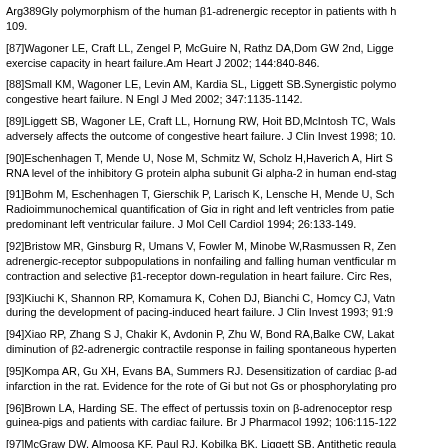Arg389Gly polymorphism of the human β1-adrenergic receptor in patients with heart failure. 109.
[87]Wagoner LE, Craft LL, Zengel P, McGuire N, Rathz DA,Dom GW 2nd, Liggett SB. exercise capacity in heart failure.Am Heart J 2002; 144:840-846.
[88]Small KM, Wagoner LE, Levin AM, Kardia SL, Liggett SB.Synergistic polymorphisms congestive heart failure. N Engl J Med 2002; 347:1135-1142.
[89]Liggett SB, Wagoner LE, Craft LL, Hornung RW, Hoit BD,McIntosh TC, Walsh RA. adversely affects the outcome of congestive heart failure. J Clin Invest 1998; 10.
[90]Eschenhagen T, Mende U, Nose M, Schmitz W, Scholz H,Haverich A, Hirt S. RNA level of the inhibitory G protein alpha subunit Gi alpha-2 in human end-stage heart failure.
[91]Bohm M, Eschenhagen T, Gierschik P, Larisch K, Lensche H, Mende U, Sch Radioimmunochemical quantification of Giα in right and left ventricles from patients with predominant left ventricular failure. J Mol Cell Cardiol 1994; 26:133-149.
[92]Bristow MR, Ginsburg R, Umans V, Fowler M, Minobe W,Rasmussen R, Zen adrenergic-receptor subpopulations in nonfailing and falling human ventficular m contraction and selective β1-receptor down-regulation in heart failure. Circ Res,
[93]Kiuchi K, Shannon RP, Komamura K, Cohen DJ, Bianchi C, Homcy CJ, Vatn during the development of pacing-induced heart failure. J Clin Invest 1993; 91:9
[94]Xiao RP, Zhang S J, Chakir K, Avdonin P, Zhu W, Bond RA,Balke CW, Lakat diminution of β2-adrenergic contractile response in failing spontaneous hypertensive
[95]Kompa AR, Gu XH, Evans BA, Summers RJ. Desensitization of cardiac β-ad infarction in the rat. Evidence for the rote of Gi but not Gs or phosphorylating pro
[96]Brown LA, Harding SE. The effect of pertussis toxin on β-adrenoceptor respo guinea-pigs and patients with cardiac failure. Br J Pharmacol 1992; 106:115-122
[97]McGraw DW, Almoosa KF, Paul RJ, Kobilka BK, Liggett SB. Antithetic regula phospholipase C underlies the airway beta-agonist paradox. J Clin Invest 2003;